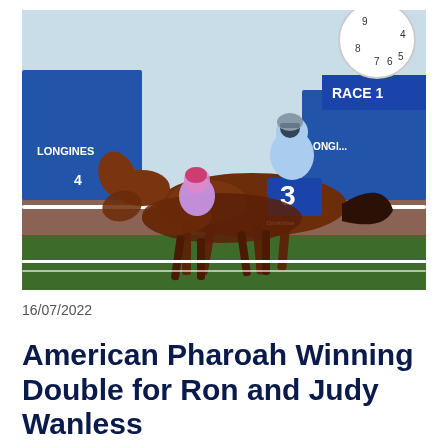[Figure (photo): Horse racing photo showing two thoroughbred horses neck-and-neck at the finish line, with jockeys in blue and white silks. Horse number 3 with DrinkWise branding is in the lead. Longines race track signage visible in background along with a large race clock.]
16/07/2022
American Pharoah Winning Double for Ron and Judy Wanless